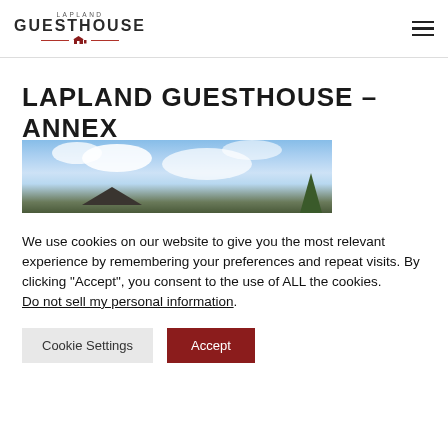LAPLAND GUESTHOUSE
LAPLAND GUESTHOUSE – ANNEX
[Figure (photo): Outdoor photo of a building under a partly cloudy blue sky with trees in the background]
We use cookies on our website to give you the most relevant experience by remembering your preferences and repeat visits. By clicking "Accept", you consent to the use of ALL the cookies. Do not sell my personal information.